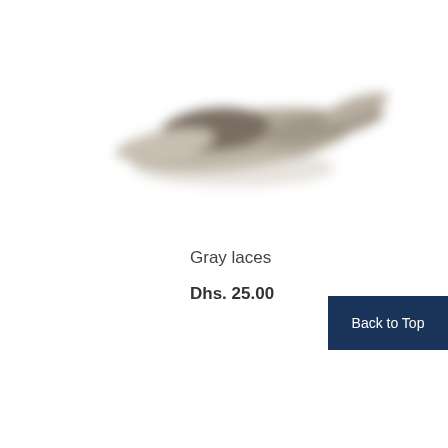[Figure (photo): Blurry photo of gray shoe laces on a white background]
Gray laces
Dhs. 25.00
Back to Top